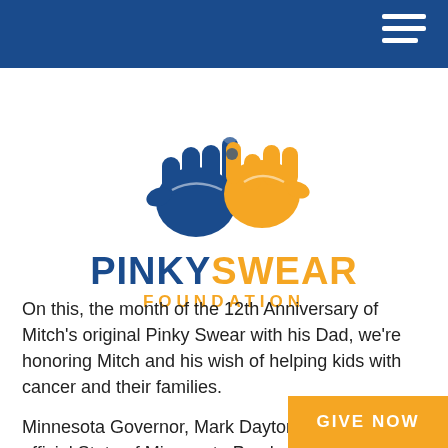Navigation bar with hamburger menu
[Figure (logo): Pinky Swear Foundation logo: two hands (one blue, one orange) doing a pinky swear gesture, with the text PINKYSWEAR FOUNDATION below]
On this, the month of the 12th Anniversary of Mitch's original Pinky Swear with his Dad, we're honoring Mitch and his wish of helping kids with cancer and their families.
Minnesota Governor, Mark Dayton, has signed an official State of Minnesota Proclamation declaring December 11, 2014 to be "Pinky Swe..."